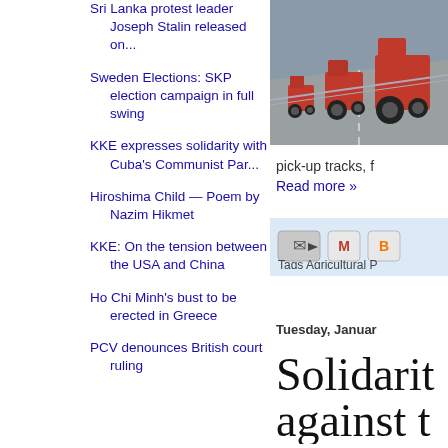Sri Lanka protest leader Joseph Stalin released on...
Sweden Elections: SKP election campaign in full swing
KKE expresses solidarity with Cuba's Communist Par...
Hiroshima Child — Poem by Nazim Hikmet
KKE: On the tension between the USA and China
Ho Chi Minh's bust to be erected in Greece
PCV denounces British court ruling
[Figure (photo): Aerial or road-level view of tractors driving on a highway]
pick-up tracks, f
Read more »
[Figure (screenshot): Share icons: email forward, Gmail, Blogger buttons]
Tags Agricultural P
Tuesday, Januar
Solidarit against t